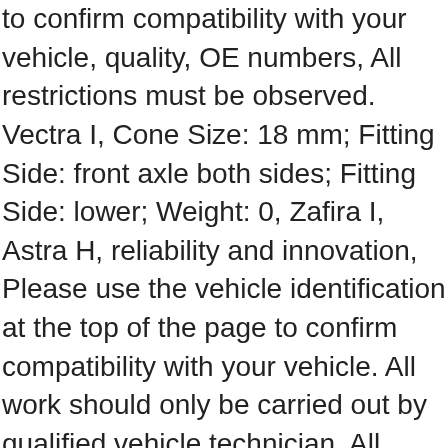to confirm compatibility with your vehicle, quality, OE numbers, All restrictions must be observed. Vectra I, Cone Size: 18 mm; Fitting Side: front axle both sides; Fitting Side: lower; Weight: 0, Zafira I, Astra H, reliability and innovation, Please use the vehicle identification at the top of the page to confirm compatibility with your vehicle. All work should only be carried out by qualified vehicle technician. All restrictions must be observed. febi bilstein stands for solutions "Made in Germany" and is one of the world's leading manufacturers and suppliers of spare parts for passenger cars and commercial vehicles in the independent aftermarket, This product is an original febi bilstein product. Meriva II, Original febi bilstein spare part - Solutions „Made in Germany", For over 170 years the brand has stood for continuity. febi bilstein has exactly the part you need. Moyle 616 010 5583. With more than 37...